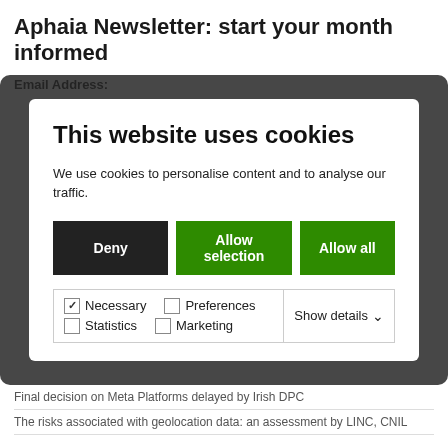Aphaia Newsletter: start your month informed
Email Address:
[Figure (screenshot): Cookie consent modal dialog with title 'This website uses cookies', body text, three buttons (Deny, Allow selection, Allow all), and checkboxes for Necessary, Preferences, Statistics, Marketing categories with a Show details dropdown.]
Final decision on Meta Platforms delayed by Irish DPC
The risks associated with geolocation data: an assessment by LINC, CNIL